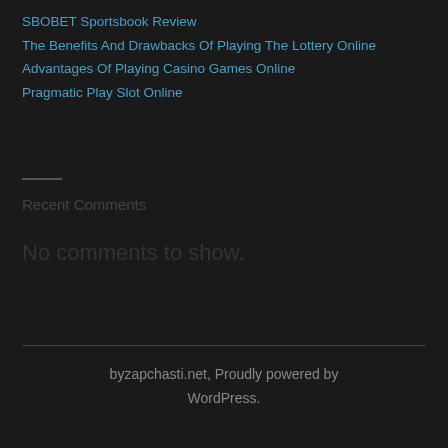SBOBET Sportsbook Review
The Benefits And Drawbacks Of Playing The Lottery Online
Advantages Of Playing Casino Games Online
Pragmatic Play Slot Online
Recent Comments
No comments to show.
byzapchasti.net, Proudly powered by WordPress.